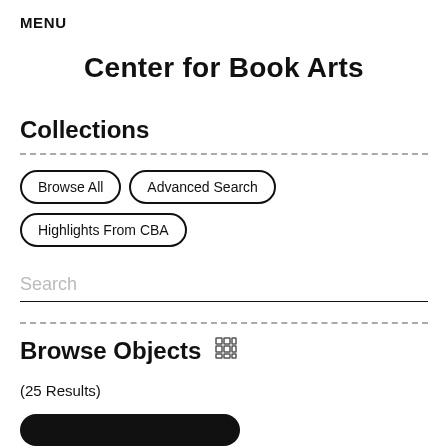MENU
Center for Book Arts
Collections
Browse All
Advanced Search
Highlights From CBA
Search
Browse Objects
(25 Results)